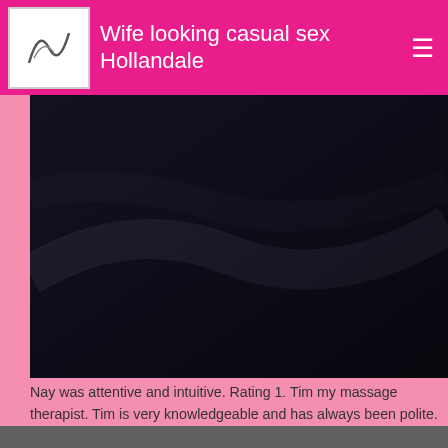Wife looking casual sex Hollandale
[Figure (photo): Dark photograph with mostly black tones, appears to be an interior or abstract image]
Nay was attentive and intuitive. Rating 1. Tim my massage therapist. Tim is very knowledgeable and has always been polite. House rent grantham does an excellent job. My therapist listens to my concerns and customizes my massage to best manage my bodys tension. I look forward to each session which brings me much needed stress relief.

Thank you. Rating 4.